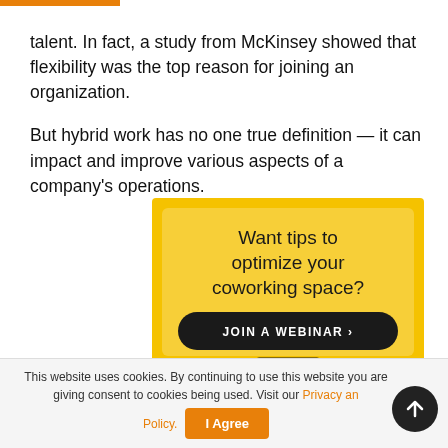talent. In fact, a study from McKinsey showed that flexibility was the top reason for joining an organization.

But hybrid work has no one true definition — it can impact and improve various aspects of a company's operations.
[Figure (infographic): Yellow advertisement box with text 'Want tips to optimize your coworking space?' and a dark button 'JOIN A WEBINAR ›' and a coworking logo icon at bottom]
This website uses cookies. By continuing to use this website you are giving consent to cookies being used. Visit our Privacy and Cookie Policy.